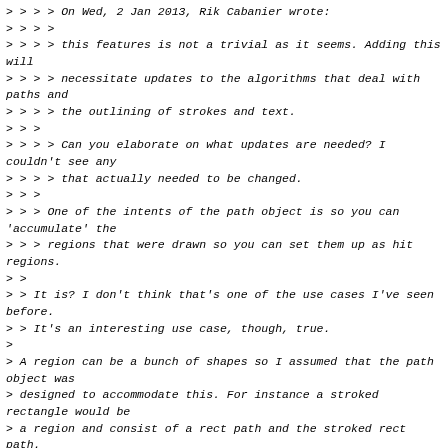> > > > On Wed, 2 Jan 2013, Rik Cabanier wrote:
> > > >
> > > > this features is not a trivial as it seems. Adding this will
> > > > necessitate updates to the algorithms that deal with paths and
> > > > the outlining of strokes and text.
> > >
> > > > Can you elaborate on what updates are needed? I couldn't see any
> > > > that actually needed to be changed.
> > >
> > > One of the intents of the path object is so you can 'accumulate' the
> > > regions that were drawn so you can set them up as hit regions.
> >
> > It is? I don't think that's one of the use cases I've seen before.
> > It's an interesting use case, though, true.
>
> A region can be a bunch of shapes so I assumed that the path object was
> designed to accommodate this. For instance a stroked rectangle would be
> a region and consist of a rect path and the stroked rect path.

Well you can certainly do that, sure, and we could provide an API that